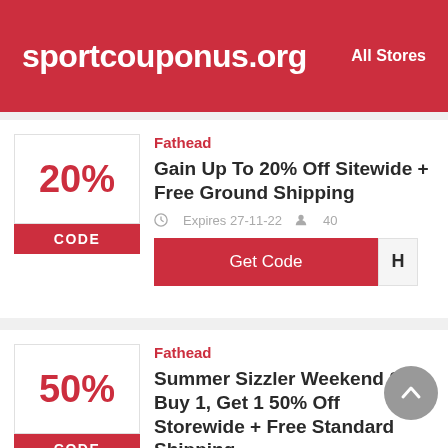sportcouponus.org  All Stores
Fathead
Gain Up To 20% Off Sitewide + Free Ground Shipping
Expires 27-11-22  40
Get Code  H
Fathead
Summer Sizzler Weekend Sale Buy 1, Get 1 50% Off Storewide + Free Standard Shipping
Expires 27-11-22  82